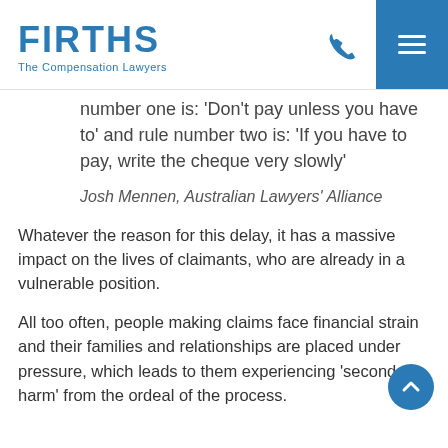FIRTHS The Compensation Lawyers
number one is: 'Don't pay unless you have to' and rule number two is: 'If you have to pay, write the cheque very slowly'
Josh Mennen, Australian Lawyers' Alliance
Whatever the reason for this delay, it has a massive impact on the lives of claimants, who are already in a vulnerable position.
All too often, people making claims face financial strain and their families and relationships are placed under pressure, which leads to them experiencing 'secondary harm' from the ordeal of the process.